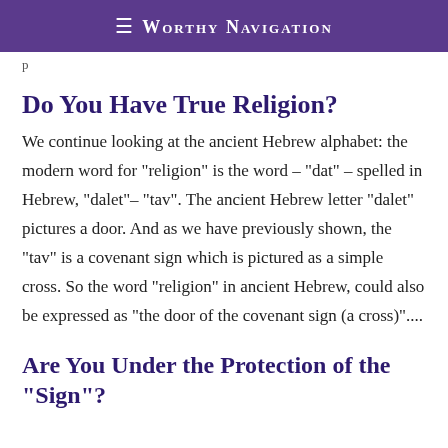≡ Worthy Navigation
p
Do You Have True Religion?
We continue looking at the ancient Hebrew alphabet: the modern word for "religion" is the word – "dat" – spelled in Hebrew, "dalet"– "tav". The ancient Hebrew letter "dalet" pictures a door. And as we have previously shown, the "tav" is a covenant sign which is pictured as a simple cross. So the word "religion" in ancient Hebrew, could also be expressed as "the door of the covenant sign (a cross)"....
Are You Under the Protection of the "Sign"?